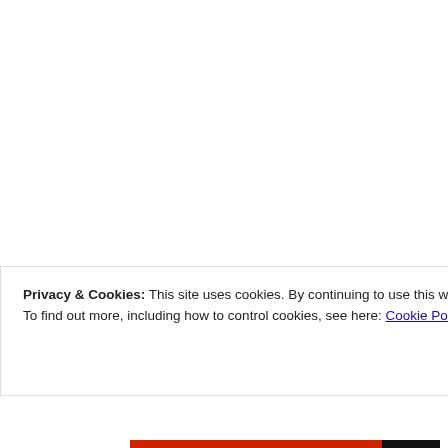[Figure (illustration): Teal and white geometric quilt-pattern avatar icon, top position]
either a Muslim with Hindu nam just another los Ayodhya.The a writer qualifies
Reply
Anonymous
October 2, 2010
[Figure (illustration): Teal and white geometric quilt-pattern avatar icon, bottom position]
The trouble wit /writers is that distorted versio and historical w QUOTE"Temple
Privacy & Cookies: This site uses cookies. By continuing to use this website, you agree to their use.
To find out more, including how to control cookies, see here: Cookie Policy
Close and accept